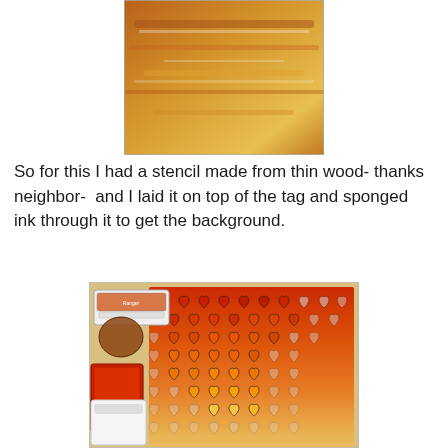[Figure (photo): Cropped photo of an art tag with orange, yellow, and rust-colored abstract painted background, shown partially at the top of the page.]
So for this I had a stencil made from thin wood- thanks neighbor-  and I laid it on top of the tag and sponged ink through it to get the background.
[Figure (photo): Photo of a wooden heart stencil lying on a craft surface, with ink pads and a sponge nearby. The stencil shows many rows of heart cutouts with orange and red ink sponged through them, creating a gradient effect from deep red at the top to light orange at the bottom.]